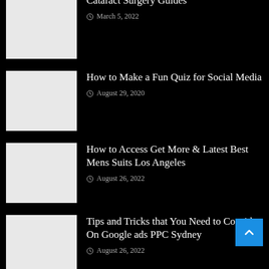[Figure (photo): White thumbnail image placeholder]
Cataract Surgery Guides
March 5, 2022
[Figure (photo): White thumbnail image placeholder]
How to Make a Fun Quiz for Social Media
August 29, 2020
[Figure (photo): White thumbnail image placeholder]
How to Access Get More & Latest Best Mens Suits Los Angeles
August 26, 2022
[Figure (photo): White thumbnail image placeholder]
Tips and Tricks that You Need to Consider On Google ads PPC Sydney
August 26, 2022